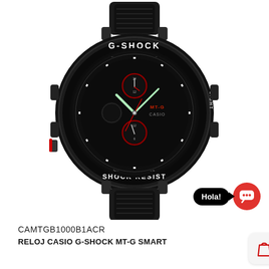[Figure (photo): Casio G-Shock MT-G watch model CAMTGB1000B1ACR shown from front. Black case with red accents, rubber strap, multiple subdials, 'G-SHOCK' text on bezel, 'SHOCK RESIST' text on lower bezel, 'MT-G CASIO' on dial face. A chat bubble overlay shows 'Hola!' pointing to a red circular chat icon in the bottom right area of the image.]
CAMTGB1000B1ACR
RELOJ CASIO G-SHOCK MT-G SMART